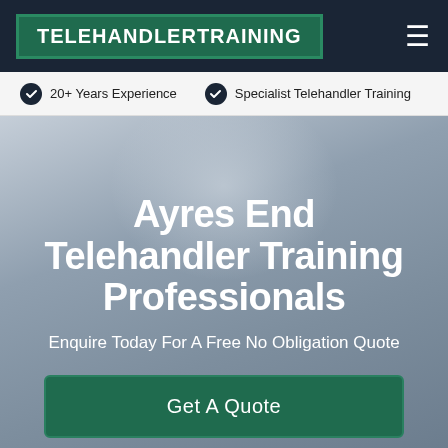TELEHANDLERTRAINING
20+ Years Experience
Specialist Telehandler Training
Ayres End Telehandler Training Professionals
Enquire Today For A Free No Obligation Quote
Get A Quote